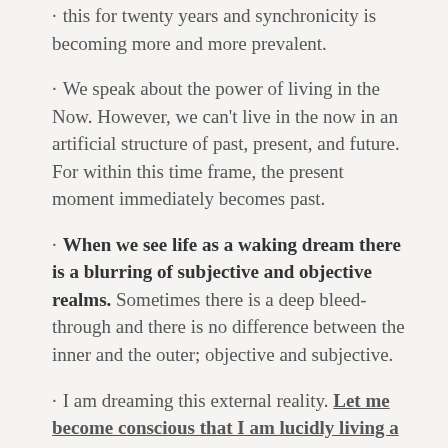this for twenty years and synchronicity is becoming more and more prevalent.
We speak about the power of living in the Now. However, we can't live in the now in an artificial structure of past, present, and future. For within this time frame, the present moment immediately becomes past.
When we see life as a waking dream there is a blurring of subjective and objective realms. Sometimes there is a deep bleed-through and there is no difference between the inner and the outer; objective and subjective.
I am dreaming this external reality. Let me become conscious that I am lucidly living a waking dream and I'm that far away from wide awake. Just a hair away . . .